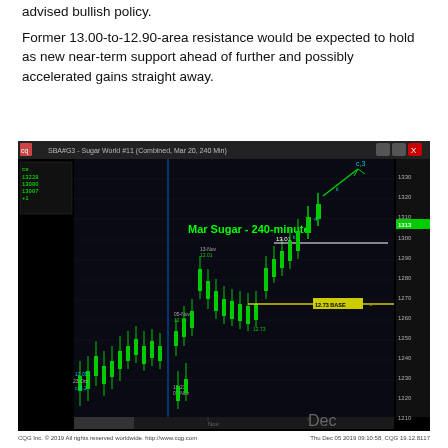advised bullish policy.
Former 13.00-to-12.90-area resistance would be expected to hold as new near-term support ahead of further and possibly accelerated gains straight away.
[Figure (screenshot): CQG charting platform screenshot showing Mar Sugar - 240-minute candlestick chart (SBA#G3 - Sugar World #11 Combined, Mar 20, 240 Min). The chart displays price action from October through December 2019, with annotations marking key levels including 12.05 on 23-Oct (c-B,2), 12.23/08-Nov, 05-Nov 12.73, 13-Nov 12.01, 12.01, 12.73 support level highlighted in yellow, 13.01 resistance, and wave labels (ii, 4, c,3). Price axis on right shows values from 1200 to 1330. A green highlighted price of 1313 is visible. The chart shows a bullish ascending pattern with wave counts.]
CQG Inc. © 2019 All rights reserved worldwide. http://www.cqg.com    Thu Dec 05 2019 09:10:58, CQG 19.12.8117